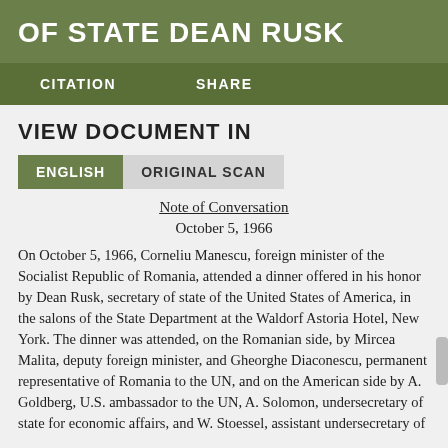OF STATE DEAN RUSK
CITATION   SHARE
VIEW DOCUMENT IN
ENGLISH   ORIGINAL SCAN
Note of Conversation
October 5, 1966
On October 5, 1966, Corneliu Manescu, foreign minister of the Socialist Republic of Romania, attended a dinner offered in his honor by Dean Rusk, secretary of state of the United States of America, in the salons of the State Department at the Waldorf Astoria Hotel, New York. The dinner was attended, on the Romanian side, by Mircea Malita, deputy foreign minister, and Gheorghe Diaconescu, permanent representative of Romania to the UN, and on the American side by A. Goldberg, U.S. ambassador to the UN, A. Solomon, undersecretary of state for economic affairs, and W. Stoessel, assistant undersecretary of